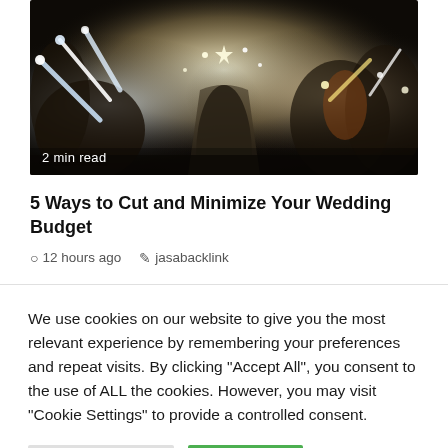[Figure (photo): Wedding photo showing a couple kissing while guests hold sparklers and glow sticks in a dark venue. '2 min read' label overlaid at bottom left.]
5 Ways to Cut and Minimize Your Wedding Budget
12 hours ago  jasabacklink
We use cookies on our website to give you the most relevant experience by remembering your preferences and repeat visits. By clicking "Accept All", you consent to the use of ALL the cookies. However, you may visit "Cookie Settings" to provide a controlled consent.
Cookie Settings  Accept All